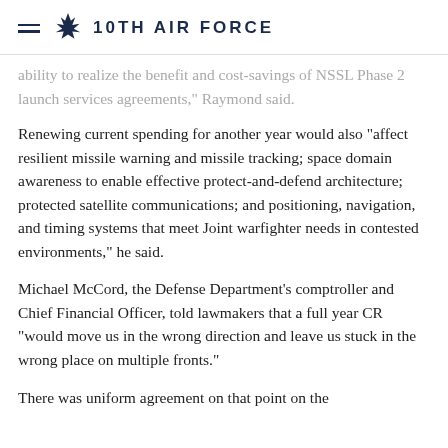10TH AIR FORCE
ability to realize the benefit and cost-savings of NSSL Phase 2 launch services agreements," Raymond said.
Renewing current spending for another year would also “affect resilient missile warning and missile tracking; space domain awareness to enable effective protect-and-defend architecture; protected satellite communications; and positioning, navigation, and timing systems that meet Joint warfighter needs in contested environments,” he said.
Michael McCord, the Defense Department’s comptroller and Chief Financial Officer, told lawmakers that a full year CR “would move us in the wrong direction and leave us stuck in the wrong place on multiple fronts.”
There was uniform agreement on that point on the